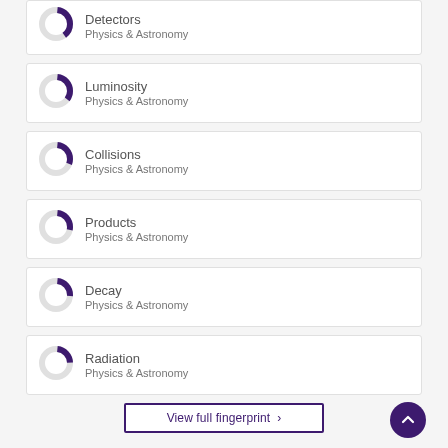Detectors
Physics & Astronomy
Luminosity
Physics & Astronomy
Collisions
Physics & Astronomy
Products
Physics & Astronomy
Decay
Physics & Astronomy
Radiation
Physics & Astronomy
View full fingerprint >